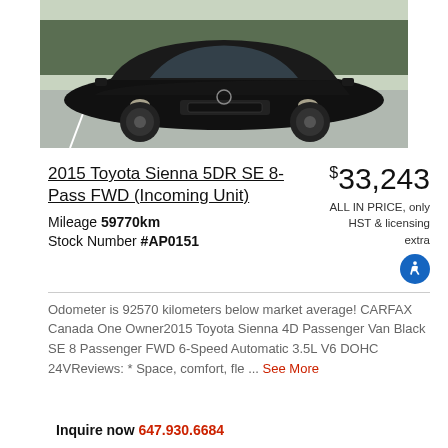[Figure (photo): Front view of a black 2015 Toyota Sienna minivan parked in a parking lot, photographed from a slightly elevated angle showing the hood, windshield, and front grille.]
2015 Toyota Sienna 5DR SE 8-Pass FWD (Incoming Unit)
Mileage 59770km
Stock Number #AP0151
$33,243
ALL IN PRICE, only HST & licensing extra
Odometer is 92570 kilometers below market average! CARFAX Canada One Owner2015 Toyota Sienna 4D Passenger Van Black SE 8 Passenger FWD 6-Speed Automatic 3.5L V6 DOHC 24VReviews: * Space, comfort, fle ... See More
Inquire now 647.930.6684